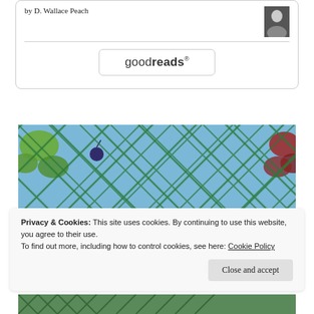by D. Wallace Peach
[Figure (logo): Goodreads button with rounded rectangle border]
[Figure (photo): Close-up photo of a green diamond-pattern wire fence against a blue sky, with green leaves on the left and reddish leaves on the right]
Privacy & Cookies: This site uses cookies. By continuing to use this website, you agree to their use.
To find out more, including how to control cookies, see here: Cookie Policy
Close and accept